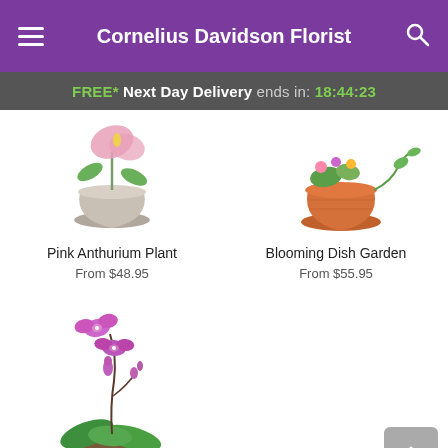Cornelius Davidson Florist
FREE* Next Day Delivery ends in: 18:44:23
[Figure (photo): Pink Anthurium Plant in a taupe/gray pot]
Pink Anthurium Plant
From $48.95
[Figure (photo): Blooming Dish Garden in an orange pot with trailing vine]
Blooming Dish Garden
From $55.95
[Figure (photo): Purple orchid plant in a colorful pot]